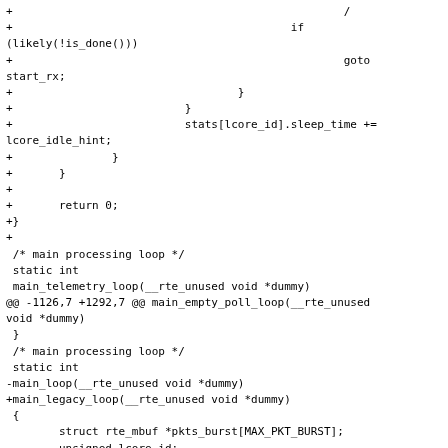+                                                  /
+                                          if (likely(!is_done()))
+                                                  goto start_rx;
+                                  }
+                          }
+                          stats[lcore_id].sleep_time += lcore_idle_hint;
+               }
+       }
+
+       return 0;
+}
+
 /* main processing loop */
 static int
 main_telemetry_loop(__rte_unused void *dummy)
@@ -1126,7 +1292,7 @@ main_empty_poll_loop(__rte_unused void *dummy)
 }
 /* main processing loop */
 static int
-main_loop(__rte_unused void *dummy)
+main_legacy_loop(__rte_unused void *dummy)
 {
        struct rte_mbuf *pkts_burst[MAX_PKT_BURST];
        unsigned lcore_id;
@@ -1438,7 +1604,8 @@ print_usage(const char *prgname)
                "  --empty-poll: enable empty poll detection"